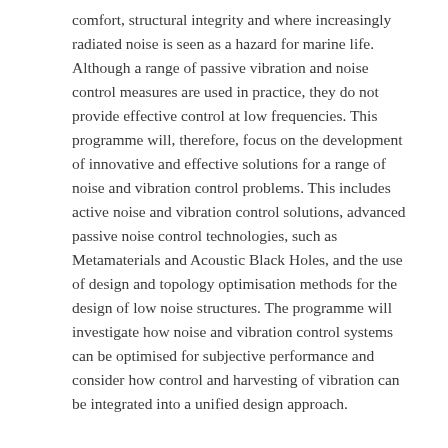comfort, structural integrity and where increasingly radiated noise is seen as a hazard for marine life. Although a range of passive vibration and noise control measures are used in practice, they do not provide effective control at low frequencies. This programme will, therefore, focus on the development of innovative and effective solutions for a range of noise and vibration control problems. This includes active noise and vibration control solutions, advanced passive noise control technologies, such as Metamaterials and Acoustic Black Holes, and the use of design and topology optimisation methods for the design of low noise structures. The programme will investigate how noise and vibration control systems can be optimised for subjective performance and consider how control and harvesting of vibration can be integrated into a unified design approach.